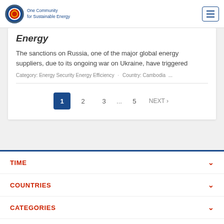One Community for Sustainable Energy
Energy
The sanctions on Russia, one of the major global energy suppliers, due to its ongoing war on Ukraine, have triggered
Category: Energy Security Energy Efficiency · Country: Cambodia ...
1 2 3 ... 5 NEXT >
TIME
COUNTRIES
CATEGORIES
RESET
FILTER